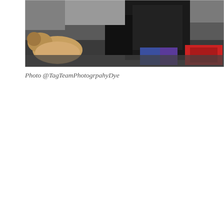[Figure (photo): Outdoor action photo showing people, one wearing a black jacket and colorful shorts/leggings, with a dog visible on the left and red gear/bag visible in the lower right. Scene appears to be a street or outdoor event with wet pavement.]
Photo @TagTeamPhotogrpahyDye